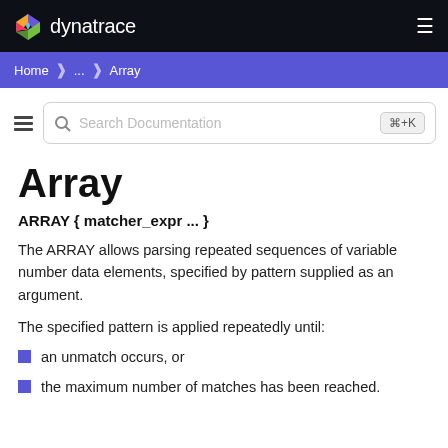dynatrace
Home > ... > Array
[Figure (screenshot): Search documentation input box with keyboard shortcut ⌘+K]
Array
ARRAY { matcher_expr ... }
The ARRAY allows parsing repeated sequences of variable number data elements, specified by pattern supplied as an argument.
The specified pattern is applied repeatedly until:
an unmatch occurs, or
the maximum number of matches has been reached.